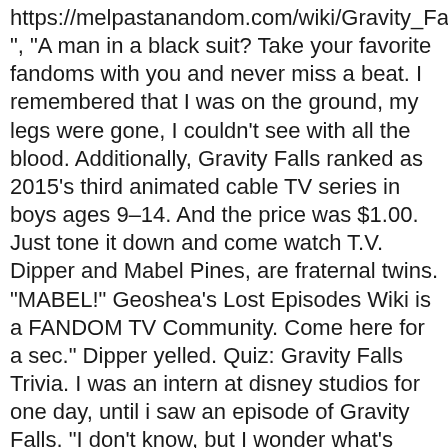https://melpastanandom.com/wiki/Gravity_Falls_Lost_Episodes", "A man in a black suit? Take your favorite fandoms with you and never miss a beat. I remembered that I was on the ground, my legs were gone, I couldn't see with all the blood. Additionally, Gravity Falls ranked as 2015's third animated cable TV series in boys ages 9–14. And the price was $1.00. Just tone it down and come watch T.V. Dipper and Mabel Pines, are fraternal twins. "MABEL!" Geoshea's Lost Episodes Wiki is a FANDOM TV Community. Come here for a sec." Dipper yelled. Quiz: Gravity Falls Trivia. I was an intern at disney studios for one day, until i saw an episode of Gravity Falls. "I don't know, but I wonder what's down here..." Mabel replied. Hey, have you seen Grunkle Stan any where? A man's body was crawling towards Dipper and Mabel. Dipper wailed. Mabel asked. TEH STOREE. This image was taken from a split second frame in a corrupted bootleg of the Spongebob episode 'Dumped.' Alex Hirsch said that after "Weirdmagedon: Part 3", it will be the end of Gravity Falls for good. He'll be back on Monday. "What's up, Dip?" Mabel! SO THEN YOU DIED HEHEHEHEHEHE SHIT NUGGET AND THEN MABIMIZH